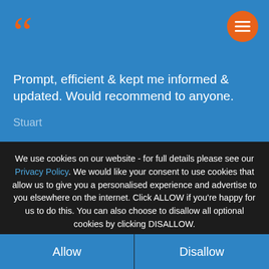[Figure (other): Large orange opening quotation mark decorative element on blue background]
Prompt, efficient & kept me informed & updated. Would recommend to anyone.
Stuart
We use cookies on our website - for full details please see our Privacy Policy. We would like your consent to use cookies that allow us to give you a personalised experience and advertise to you elsewhere on the internet. Click ALLOW if you're happy for us to do this. You can also choose to disallow all optional cookies by clicking DISALLOW.
Allow
Disallow